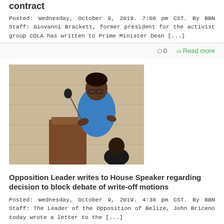contract
Posted: Wednesday, October 9, 2019. 7:00 pm CST. By BBN Staff: Giovanni Brackett, former president for the activist group COLA has written to Prime Minister Dean [...]
○ 0   Read more
[Figure (photo): A man in a blue shirt speaking at a podium with a microphone, another person seated nearby, in a room with a concrete block wall]
Opposition Leader writes to House Speaker regarding decision to block debate of write-off motions
Posted: Wednesday, October 9, 2019. 4:38 pm CST. By BBN Staff: The Leader of the Opposition of Belize, John Briceno today wrote a letter to the [...]